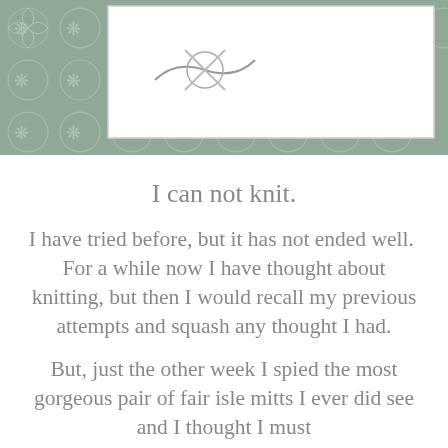[Figure (illustration): Decorative header banner with gray-green botanical/Nordic pattern background and a white rectangle containing a partial knitting-related illustration]
I can not knit.
I have tried before, but it has not ended well.  For a while now I have thought about knitting, but then I would recall my previous attempts and squash any thought I had.
But, just the other week I spied the most gorgeous pair of fair isle mitts I ever did see and I thought I must